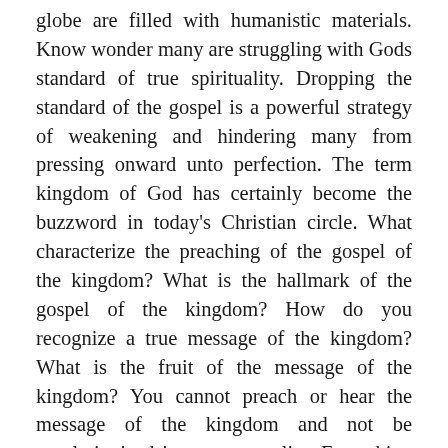globe are filled with humanistic materials. Know wonder many are struggling with Gods standard of true spirituality. Dropping the standard of the gospel is a powerful strategy of weakening and hindering many from pressing onward unto perfection. The term kingdom of God has certainly become the buzzword in today's Christian circle. What characterize the preaching of the gospel of the kingdom? What is the hallmark of the gospel of the kingdom? How do you recognize a true message of the kingdom? What is the fruit of the message of the kingdom? You cannot preach or hear the message of the kingdom and not be revolutionized in your mentality. Everything Jesus said in his earthly ministry was with the view of bringing his listener closer to the place of seeing the reason of accepting the kingdom of God.